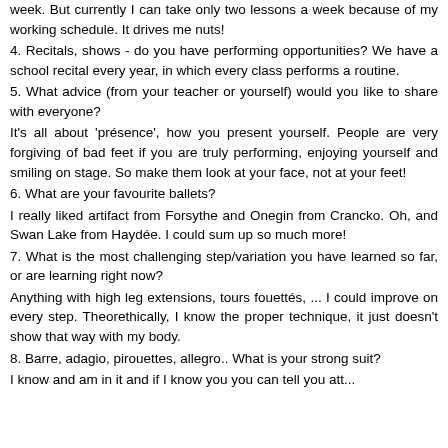week. But currently I can take only two lessons a week because of my working schedule. It drives me nuts!
4. Recitals, shows - do you have performing opportunities? We have a school recital every year, in which every class performs a routine.
5. What advice (from your teacher or yourself) would you like to share with everyone?
It's all about 'présence', how you present yourself. People are very forgiving of bad feet if you are truly performing, enjoying yourself and smiling on stage. So make them look at your face, not at your feet!
6. What are your favourite ballets?
I really liked artifact from Forsythe and Onegin from Crancko. Oh, and Swan Lake from Haydée. I could sum up so much more!
7. What is the most challenging step/variation you have learned so far, or are learning right now?
Anything with high leg extensions, tours fouettés, ... I could improve on every step. Theorethically, I know the proper technique, it just doesn't show that way with my body.
8. Barre, adagio, pirouettes, allegro.. What is your strong suit?
I know and am in it and if I know you you can tell you att...